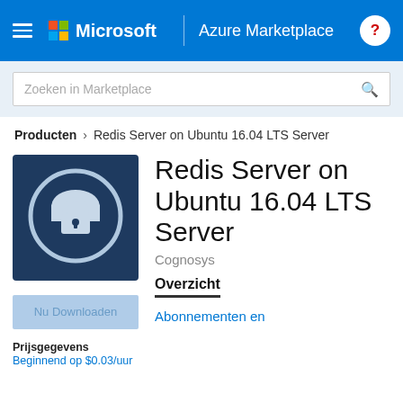Microsoft | Azure Marketplace
Zoeken in Marketplace
Producten > Redis Server on Ubuntu 16.04 LTS Server
[Figure (logo): Redis Server on Ubuntu product icon: dark navy blue square with a cloud and padlock symbol inside a white circle]
Redis Server on Ubuntu 16.04 LTS Server
Cognosys
Nu Downloaden
Prijsgegevens
Begginnend op $0.03/uur
Overzicht
Abonnementen en